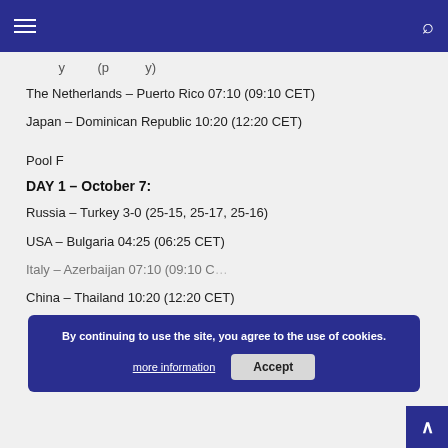Navigation header with hamburger menu and search icon
...y (partially visible)
The Netherlands – Puerto Rico 07:10 (09:10 CET)
Japan – Dominican Republic 10:20 (12:20 CET)
Pool F
DAY 1 – October 7:
Russia – Turkey 3-0 (25-15, 25-17, 25-16)
USA – Bulgaria 04:25 (06:25 CET)
Italy – Azerbaijan 07:10 (09:10 CET)
China – Thailand 10:20 (12:20 CET)
By continuing to use the site, you agree to the use of cookies. more information | Accept